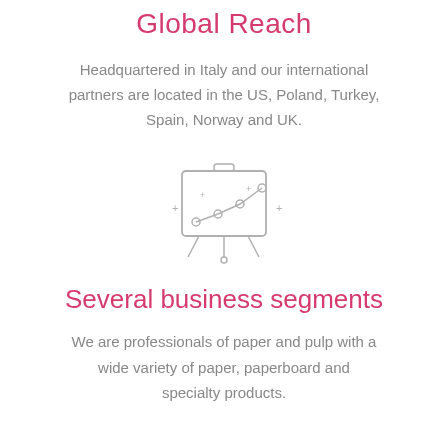Global Reach
Headquartered in Italy and our international partners are located in the US, Poland, Turkey, Spain, Norway and UK.
[Figure (illustration): A simple line-chart illustration on a presentation board/easel, drawn in light gray outline style with dots connected by a rising line. Small plus signs surround the board.]
Several business segments
We are professionals of paper and pulp with a wide variety of paper, paperboard and specialty products.